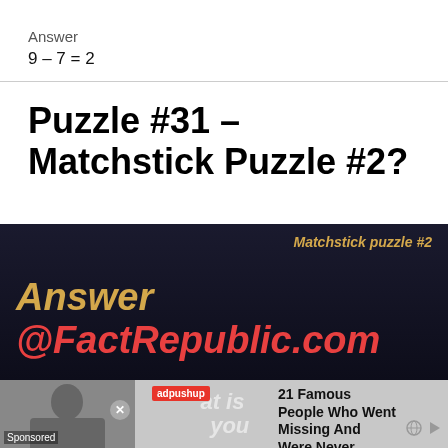Answer
Puzzle #31 – Matchstick Puzzle #2?
[Figure (illustration): Dark banner with gold italic text 'Matchstick puzzle #2' in top right, and large bold italic text 'Answer @FactRepublic.com' — 'Answer' in gold, '@FactRepublic.com' in red, on a dark navy/black background.]
[Figure (screenshot): Advertisement section with adpushup badge, a grayscale photo of a person, close button X, sponsored label, headline '21 Famous People Who Went Missing And Were Never', subtext 'Definition', and partially visible background italic text 'By m...at is the...you']